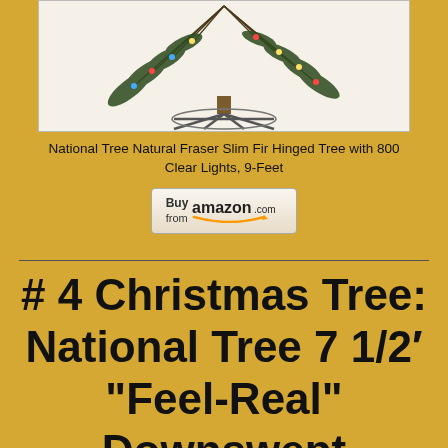[Figure (photo): Christmas tree with lights and metal stand, bottom portion visible against cream/beige background]
National Tree Natural Fraser Slim Fir Hinged Tree with 800 Clear Lights, 9-Feet
[Figure (other): Buy from amazon.com button]
# 4 Christmas Tree: National Tree 7 1/2′ “Feel-Real” Downswept Douglas Fir Tree, Hinged, 750 Multi-Colored Lights